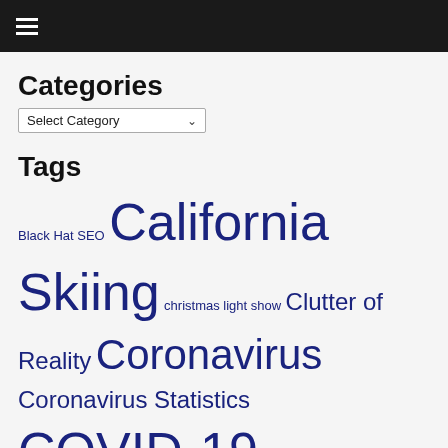≡ (hamburger menu)
Categories
Select Category (dropdown)
Tags
Black Hat SEO California Skiing christmas light show Clutter of Reality Coronavirus Coronavirus Statistics COVID-19 COVID-19 Musings COVID-19 Statistics COVID-19 thoughts Culture David McCullough eMarketing Facebook Google's Algorithm Change History Internet Marketing Lake Tahoe Lake Tahoe Skiing Light-O-Rama Light Show Management Musings Musings about the COVID-19 Pandemic Nevada Skiing Panda Update Pandemic Pay Per Click Pfizer Vaccine Project Failures Project Managers Rich Content Search Engine Ranking SEO Sierra Nevada Skiing Skiing SoCal Skiing